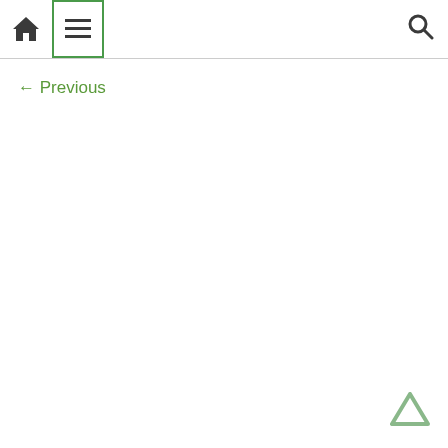Home | Menu | Search
← Previous
[Figure (illustration): Back to top arrow icon at bottom right]